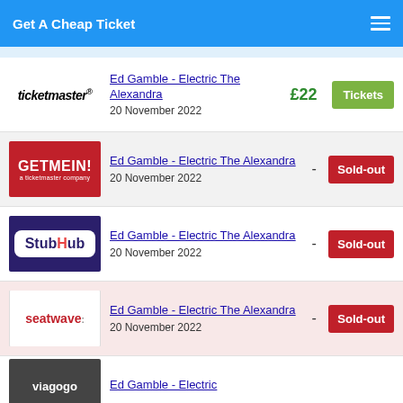Get A Cheap Ticket
Ed Gamble - Electric The Alexandra | 20 November 2022 | £22 | Tickets | Ticketmaster
Ed Gamble - Electric The Alexandra | 20 November 2022 | - | Sold-out | GetMeIn! a ticketmaster company
Ed Gamble - Electric The Alexandra | 20 November 2022 | - | Sold-out | StubHub
Ed Gamble - Electric The Alexandra | 20 November 2022 | - | Sold-out | seatwave
Ed Gamble - Electric | viagogo